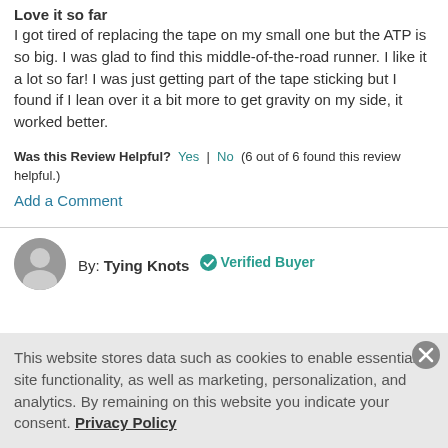Love it so far
I got tired of replacing the tape on my small one but the ATP is so big. I was glad to find this middle-of-the-road runner. I like it a lot so far! I was just getting part of the tape sticking but I found if I lean over it a bit more to get gravity on my side, it worked better.
Was this Review Helpful? Yes | No (6 out of 6 found this review helpful.)
Add a Comment
By: Tying Knots ✔ Verified Buyer
This website stores data such as cookies to enable essential site functionality, as well as marketing, personalization, and analytics. By remaining on this website you indicate your consent. Privacy Policy